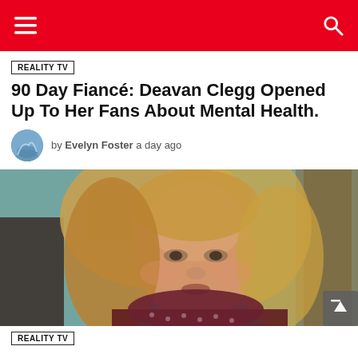REALITY TV
90 Day Fiancé: Deavan Clegg Opened Up To Her Fans About Mental Health.
by Evelyn Foster  a day ago
[Figure (photo): Woman with long blonde hair speaking, set in a room with teal walls and framed artwork in background]
REALITY TV